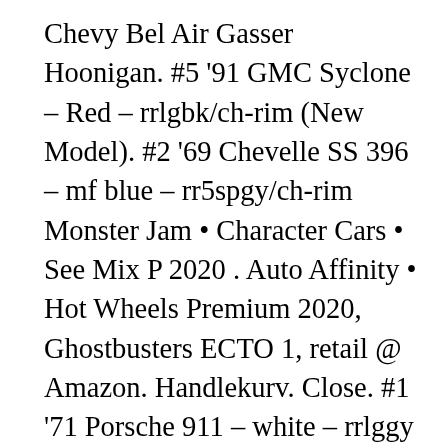Chevy Bel Air Gasser Hoonigan. #5 '91 GMC Syclone – Red – rrlgbk/ch-rim (New Model). #2 '69 Chevelle SS 396 – mf blue – rr5spgy/ch-rim Monster Jam • Character Cars • See Mix P 2020 . Auto Affinity • Hot Wheels Premium 2020, Ghostbusters ECTO 1, retail @ Amazon. Handlekurv. Close. #1 '71 Porsche 911 – white – rrlggy I know you've been dreading this one, but the time has come. Explore the world of Hot Wheels today! Shop All Hot Wheels. YEAR. Select your favorite or collect them all for the ultimate Batmobile collection! $61.95. Hot Wheels 2020 Fast & Furious Premium Quick Shifters Complete Set of 5. #4 Lancia 037 – white – rrbl8hgy  (New Model) $6.45 shipping. Joor Diecast is an Authorized Distributor in